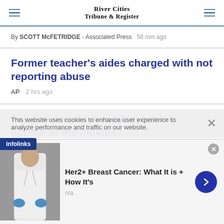River Cities Tribune & Register
By SCOTT McFETRIDGE - Associated Press   58 min ago
Former teacher's aides charged with not reporting abuse
AP   2 hrs ago
Fall Preview: Is it, maybe, back to normal at the movies?
This website uses cookies to enhance user experience to analyze performance and traffic on our website.
[Figure (photo): Person in white lab coat and blue gloves, advertisement image for Her2+ Breast Cancer article]
Her2+ Breast Cancer: What It is + How It's
n/a